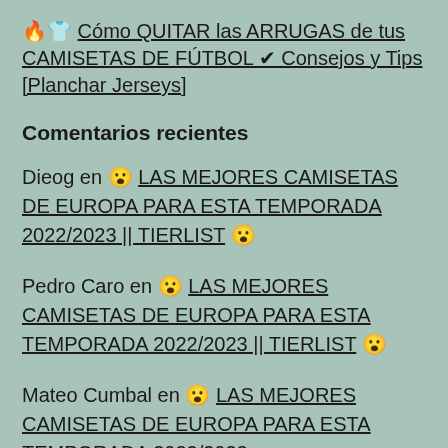🔥👕 Cómo QUITAR las ARRUGAS de tus CAMISETAS DE FÚTBOL ✔ Consejos y Tips [Planchar Jerseys]
Comentarios recientes
Dieog en 😮 LAS MEJORES CAMISETAS DE EUROPA PARA ESTA TEMPORADA 2022/2023 || TIERLIST 😮
Pedro Caro en 😮 LAS MEJORES CAMISETAS DE EUROPA PARA ESTA TEMPORADA 2022/2023 || TIERLIST 😮
Mateo Cumbal en 😮 LAS MEJORES CAMISETAS DE EUROPA PARA ESTA TEMPORADA 2022/2023